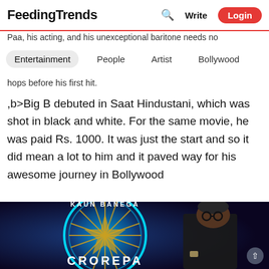FeedingTrends — Search | Write | Login
Paa, his acting, and his unexceptional baritone needs no
Entertainment   People   Artist   Bollywood
hops before his first hit.
,b>Big B debuted in Saat Hindustani, which was shot in black and white. For the same movie, he was paid Rs. 1000. It was just the start and so it did mean a lot to him and it paved way for his awesome journey in Bollywood
[Figure (photo): Amitabh Bachchan standing in front of a Kaun Banega Crorepati neon sign/logo, wearing a black suit]